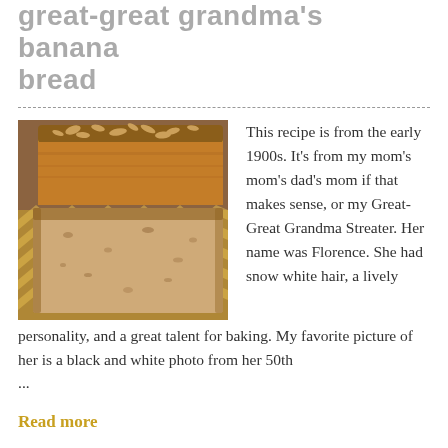great-great grandma's banana bread
[Figure (photo): Photo of sliced banana bread with nuts on top, placed on a wooden cutting board with yellow chevron patterned cloth/paper underneath]
This recipe is from the early 1900s. It's from my mom's mom's dad's mom if that makes sense, or my Great-Great Grandma Streater. Her name was Florence. She had snow white hair, a lively personality, and a great talent for baking. My favorite picture of her is a black and white photo from her 50th ...
Read more